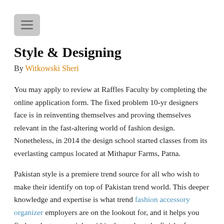[Figure (other): Hamburger menu button icon (three horizontal lines) on a gray rounded rectangle background]
Style & Designing
By Witkowski Sheri
You may apply to review at Raffles Faculty by completing the online application form. The fixed problem 10-yr designers face is in reinventing themselves and proving themselves relevant in the fast-altering world of fashion design. Nonetheless, in 2014 the design school started classes from its everlasting campus located at Mithapur Farms, Patna.
Pakistan style is a premiere trend source for all who wish to make their identify on top of Pakistan trend world. This deeper knowledge and expertise is what trend fashion accessory organizer employers are on the lookout for, and it helps you find graduate-stage jobs within the trade at the finish of your course.